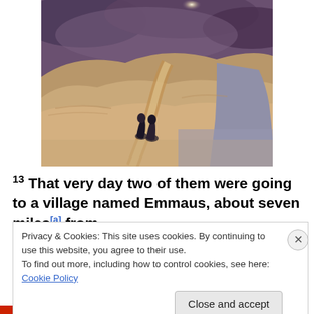[Figure (illustration): A painting depicting a winding desert road through barren golden-brown hills under a dramatic stormy sky, with two dark-robed figures walking along the road in the lower-center foreground.]
13 That very day two of them were going to a village named Emmaus, about seven miles[a] from
Privacy & Cookies: This site uses cookies. By continuing to use this website, you agree to their use.
To find out more, including how to control cookies, see here: Cookie Policy
Close and accept